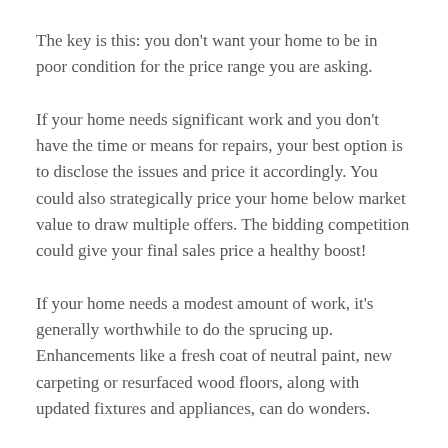The key is this: you don't want your home to be in poor condition for the price range you are asking.
If your home needs significant work and you don't have the time or means for repairs, your best option is to disclose the issues and price it accordingly. You could also strategically price your home below market value to draw multiple offers. The bidding competition could give your final sales price a healthy boost!
If your home needs a modest amount of work, it's generally worthwhile to do the sprucing up. Enhancements like a fresh coat of neutral paint, new carpeting or resurfaced wood floors, along with updated fixtures and appliances, can do wonders.